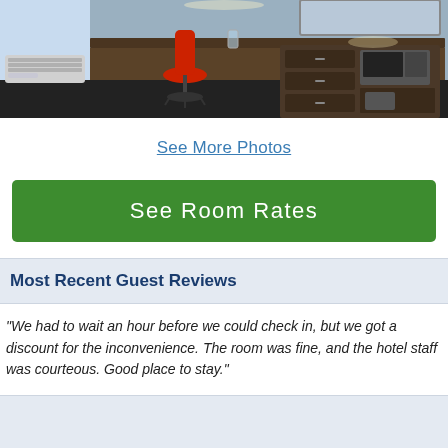[Figure (photo): Hotel room interior showing a desk area with red office chair, dark wood dresser with drawers, microwave and mini fridge, wall-mounted mirror, and HVAC unit on the left wall.]
See More Photos
See Room Rates
Most Recent Guest Reviews
"We had to wait an hour before we could check in, but we got a discount for the inconvenience. The room was fine, and the hotel staff was courteous. Good place to stay."